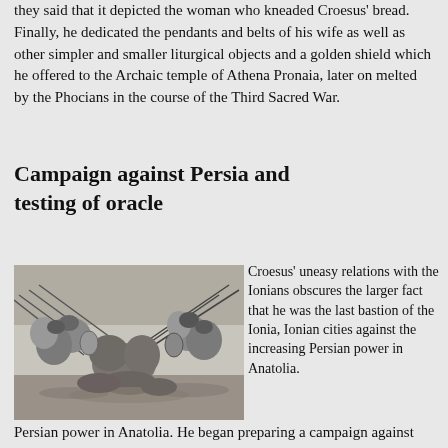they said that it depicted the woman who kneaded Croesus' bread. Finally, he dedicated the pendants and belts of his wife as well as other simpler and smaller liturgical objects and a golden shield which he offered to the Archaic temple of Athena Pronaia, later on melted by the Phocians in the course of the Third Sacred War.
Campaign against Persia and testing of oracle
[Figure (illustration): Black and white illustration depicting an ancient battle scene with soldiers on camels and horses engaged in combat, wielding spears and shields.]
Croesus' uneasy relations with the Ionians obscures the larger fact that he was the last bastion of the Ionia, Ionian cities against the increasing Persian power in Anatolia. He began preparing a campaign against Cyrus the Great of Persia. Before